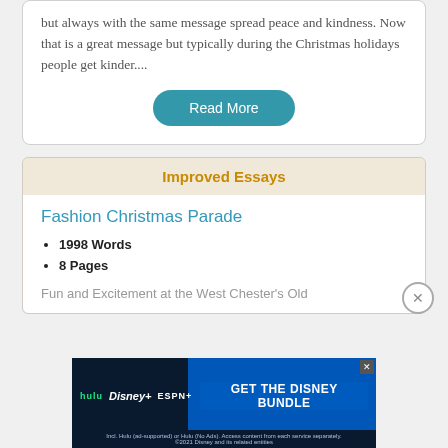but always with the same message spread peace and kindness. Now that is a great message but typically during the Christmas holidays people get kinder....
Read More
Improved Essays
Fashion Christmas Parade
1998 Words
8 Pages
Fun and Excitement at the West Chester's Old
[Figure (infographic): Disney Bundle advertisement banner featuring Hulu, Disney+, and ESPN+ logos with 'GET THE DISNEY BUNDLE' call to action. Fine print reads: Incl. Hulu (ad-supported) or Hulu (No Ads). Access content from each service separately. ©2021 Disney and its related entities]